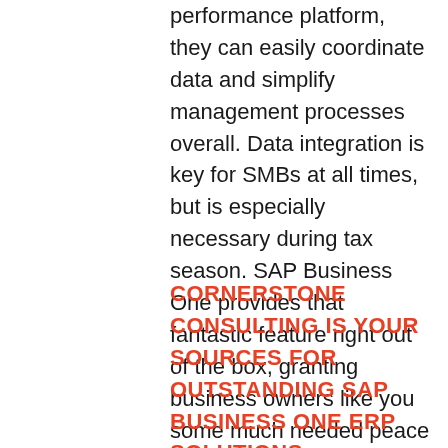performance platform, they can easily coordinate data and simplify management processes overall. Data integration is key for SMBs at all times, but is especially necessary during tax season. SAP Business One provides that fantastic feature right out of the box, granting business owners like you some much needed peace of mind all year long.
CORNERSTONE CONSULTING IS YOUR SOURCES FOR OUTSTANDING SAP BUSINESS ONE ERP SOLUTIONS